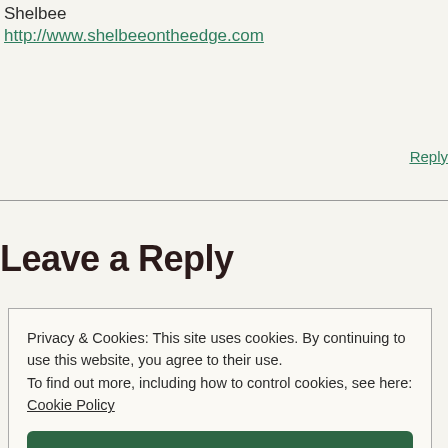Shelbee
http://www.shelbeeontheedge.com
Reply
Leave a Reply
Privacy & Cookies: This site uses cookies. By continuing to use this website, you agree to their use.
To find out more, including how to control cookies, see here: Cookie Policy
Close and accept